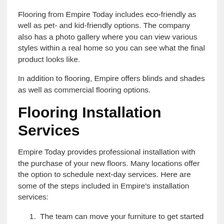Flooring from Empire Today includes eco-friendly as well as pet- and kid-friendly options. The company also has a photo gallery where you can view various styles within a real home so you can see what the final product looks like.
In addition to flooring, Empire offers blinds and shades as well as commercial flooring options.
Flooring Installation Services
Empire Today provides professional installation with the purchase of your new floors. Many locations offer the option to schedule next-day services. Here are some of the steps included in Empire's installation services:
The team can move your furniture to get started working on the area.
They'll remove your old flooring and dispose of it.
Your new flooring will be installed.
The installers will also clean up after the job is